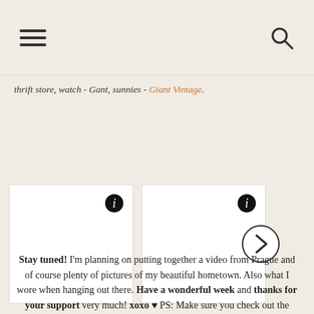[hamburger menu icon] [search icon]
thrift store, watch - Gant, sunnies - Giant Vintage.
[Figure (screenshot): Two white image placeholder boxes in a horizontal strip with info (i) icons in the upper right corners of each box. A circular arrow/next button appears to the right.]
Stay tuned! I'm planning on putting together a video from Prague and of course plenty of pictures of my beautiful hometown. Also what I wore when hanging out there. Have a wonderful week and thanks for your support very much! xoxo ♥ PS: Make sure you check out the custom